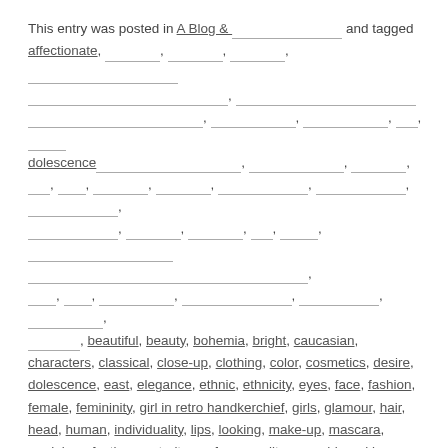This entry was posted in A Blog & __________ and tagged affectionate, ________, ________, ________, ________________ ________________________, ________________________________ ________________________, __________, __________, ___, _______ dolescence________________________, _______________, ________, ___, _____, _________, __________, _____________, ____________, ____________, __________, __________, __________, ___, _______, __________________________ _________________________________, ____, ____, ___________, _______________, __________, _________, ________, beautiful, beauty, bohemia, bright, caucasian, characters, classical, close-up, clothing, color, cosmetics, desire, dolescence, east, elegance, ethnic, ethnicity, eyes, face, fashion, female, femininity, girl in retro handkerchief, girls, glamour, hair, head, human, individuality, lips, looking, make-up, mascara, model, perfection, portrait, scarf, sensuality, sex, shiny, skin, square, staring, studio, styles, symbol, traditional, treatment, women on August 3, 2013.